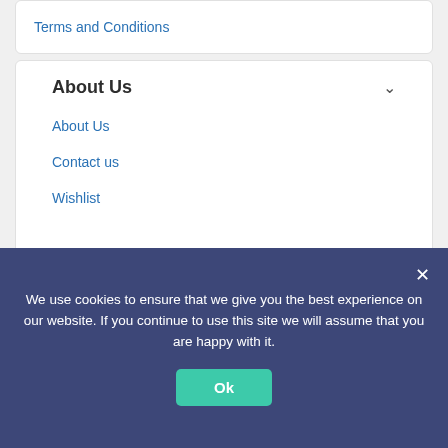Terms and Conditions
About Us
About Us
Contact us
Wishlist
Affiliate Disclosure
As an Amazon Associate, I earn from qualifying purchases.
We use cookies to ensure that we give you the best experience on our website. If you continue to use this site we will assume that you are happy with it.